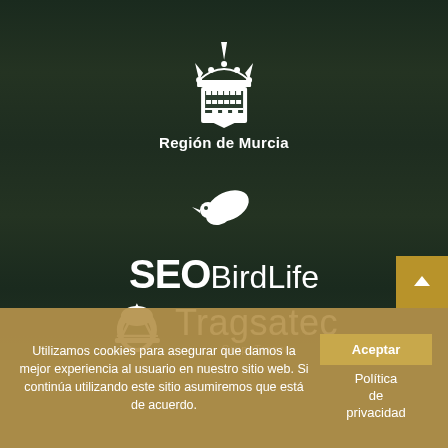[Figure (logo): Región de Murcia coat of arms logo with crown and shield, white on dark background, with text 'Región de Murcia' below]
[Figure (logo): SEO BirdLife logo - white bird/leaf icon above text 'SEO BirdLife' in white]
[Figure (logo): Tragsatec logo with white helmet/shield icon and text 'Tragsatec' and 'GrupoTransa' subtitle]
Utilizamos cookies para asegurar que damos la mejor experiencia al usuario en nuestro sitio web. Si continúa utilizando este sitio asumiremos que está de acuerdo.
Aceptar
Política de privacidad